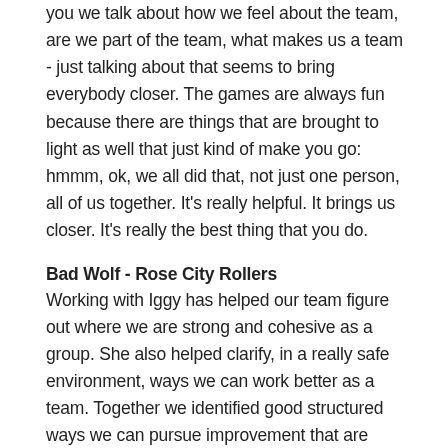you we talk about how we feel about the team, are we part of the team, what makes us a team - just talking about that seems to bring everybody closer. The games are always fun because there are things that are brought to light as well that just kind of make you go: hmmm, ok, we all did that, not just one person, all of us together. It's really helpful. It brings us closer. It's really the best thing that you do.
Bad Wolf - Rose City Rollers
Working with Iggy has helped our team figure out where we are strong and cohesive as a group. She also helped clarify, in a really safe environment, ways we can work better as a team. Together we identified good structured ways we can pursue improvement that are supportive to everyone involved.